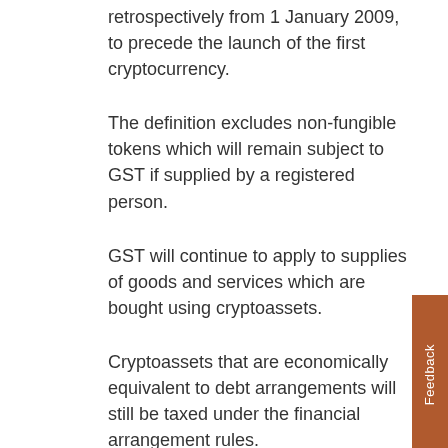retrospectively from 1 January 2009, to precede the launch of the first cryptocurrency.
The definition excludes non-fungible tokens which will remain subject to GST if supplied by a registered person.
GST will continue to apply to supplies of goods and services which are bought using cryptoassets.
Cryptoassets that are economically equivalent to debt arrangements will still be taxed under the financial arrangement rules.